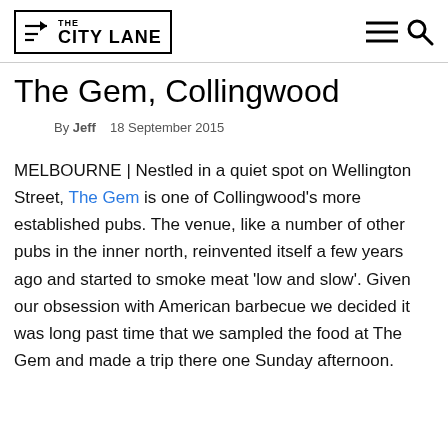THE CITY LANE
The Gem, Collingwood
By Jeff   18 September 2015
MELBOURNE | Nestled in a quiet spot on Wellington Street, The Gem is one of Collingwood's more established pubs. The venue, like a number of other pubs in the inner north, reinvented itself a few years ago and started to smoke meat 'low and slow'. Given our obsession with American barbecue we decided it was long past time that we sampled the food at The Gem and made a trip there one Sunday afternoon.